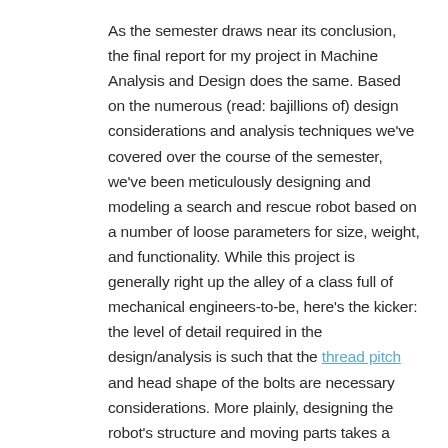As the semester draws near its conclusion, the final report for my project in Machine Analysis and Design does the same. Based on the numerous (read: bajillions of) design considerations and analysis techniques we've covered over the course of the semester, we've been meticulously designing and modeling a search and rescue robot based on a number of loose parameters for size, weight, and functionality. While this project is generally right up the alley of a class full of mechanical engineers-to-be, here's the kicker: the level of detail required in the design/analysis is such that the thread pitch and head shape of the bolts are necessary considerations. More plainly, designing the robot's structure and moving parts takes a painstaking attention to detail. This, of course, is the realm of the engineer, but it's not particularly glamorous, even less so at the wee hours of the morning in the CAD lab.